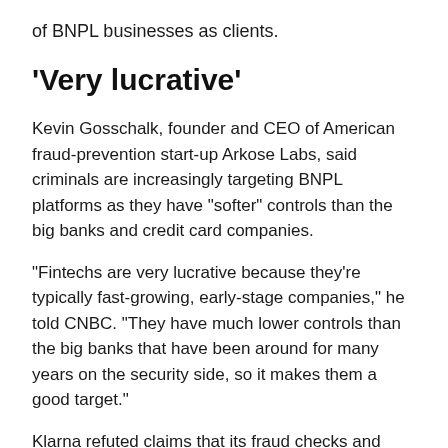of BNPL businesses as clients.
‘Very lucrative’
Kevin Gosschalk, founder and CEO of American fraud-prevention start-up Arkose Labs, said criminals are increasingly targeting BNPL platforms as they have “softer” controls than the big banks and credit card companies.
“Fintechs are very lucrative because they’re typically fast-growing, early-stage companies,” he told CNBC. “They have much lower controls than the big banks that have been around for many years on the security side, so it makes them a good target.”
Klarna refuted claims that its fraud checks and controls were more lax than that of banks, while Afterpay said it